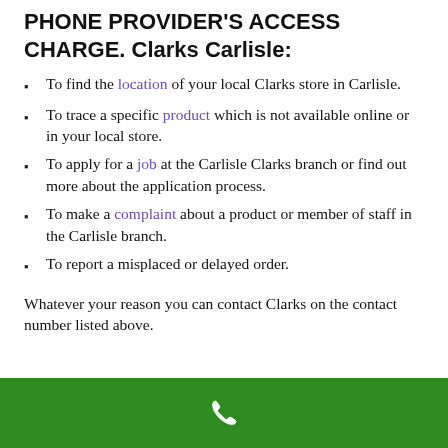PHONE PROVIDER'S ACCESS CHARGE. Clarks Carlisle:
To find the location of your local Clarks store in Carlisle.
To trace a specific product which is not available online or in your local store.
To apply for a job at the Carlisle Clarks branch or find out more about the application process.
To make a complaint about a product or member of staff in the Carlisle branch.
To report a misplaced or delayed order.
Whatever your reason you can contact Clarks on the contact number listed above.
[Figure (other): Green footer bar with a white phone handset icon]